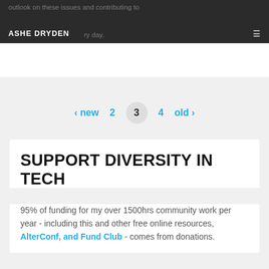ASHE DRYDEN
outlook on these issues and contributing to … ry day.
‹ new  2  3  4  old ›
SUPPORT DIVERSITY IN TECH
95% of funding for my over 1500hrs community work per year - including this and other free online resources, AlterConf, and Fund Club - comes from donations.